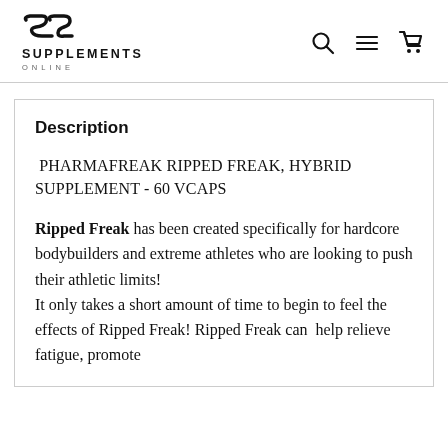[Figure (logo): SC Supplements Online logo with stylized SC icon and text SUPPLEMENTS ONLINE]
[Figure (other): Header navigation icons: search (magnifying glass), menu (hamburger lines), and cart (shopping bag/cart)]
Description
PHARMAFREAK RIPPED FREAK, HYBRID SUPPLEMENT - 60 VCAPS
Ripped Freak has been created specifically for hardcore bodybuilders and extreme athletes who are looking to push their athletic limits!
It only takes a short amount of time to begin to feel the effects of Ripped Freak! Ripped Freak can  help relieve fatigue, promote